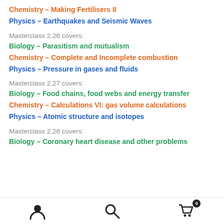Chemistry – Making Fertilisers II
Physics – Earthquakes and Seismic Waves
Masterclass 2.26 covers:
Biology – Parasitism and mutualism
Chemistry – Complete and Incomplete combustion
Physics – Pressure in gases and fluids
Masterclass 2.27 covers:
Biology – Food chains, food webs and energy transfer
Chemistry – Calculations VI: gas volume calculations
Physics – Atomic structure and isotopes
Masterclass 2.28 covers:
Biology – Coronary heart disease and other problems
user icon, search icon, cart icon (0)